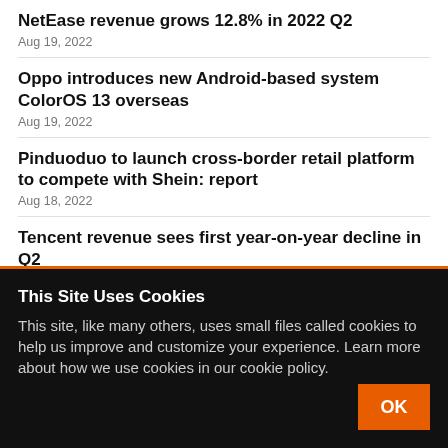NetEase revenue grows 12.8% in 2022 Q2
Aug 19, 2022
Oppo introduces new Android-based system ColorOS 13 overseas
Aug 19, 2022
Pinduoduo to launch cross-border retail platform to compete with Shein: report
Aug 18, 2022
Tencent revenue sees first year-on-year decline in Q2
This Site Uses Cookies
This site, like many others, uses small files called cookies to help us improve and customize your experience. Learn more about how we use cookies in our cookie policy.